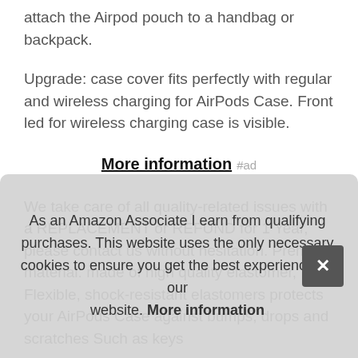attach the Airpod pouch to a handbag or backpack.
Upgrade: case cover fits perfectly with regular and wireless charging for AirPods Case. Front led for wireless charging case is visible.
More information #ad
We take care of all quality-related issues with a REPLACEMENT or REFUND for 1 Year, please contact us without hesitation. Premium material: made of high quality elastomer, Flexible, shock-resistant elastomers protects your AirPods Case against bumps, drops and scratches Such as keys...
War... any... AIRP... the indicator status any time.
As an Amazon Associate I earn from qualifying purchases. This website uses the only necessary cookies to ensure you get the best experience on our website. More information